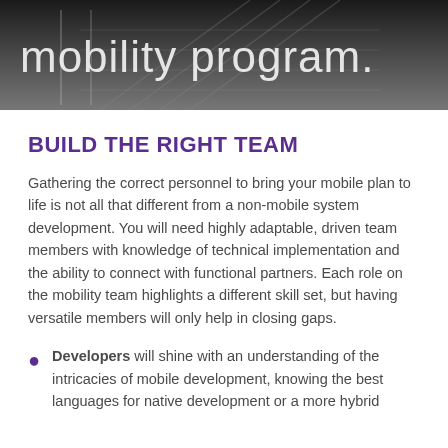[Figure (photo): Architectural photo of stairs with glass railings viewed from below, dark toned background]
mobility program.
BUILD THE RIGHT TEAM
Gathering the correct personnel to bring your mobile plan to life is not all that different from a non-mobile system development. You will need highly adaptable, driven team members with knowledge of technical implementation and the ability to connect with functional partners. Each role on the mobility team highlights a different skill set, but having versatile members will only help in closing gaps.
Developers will shine with an understanding of the intricacies of mobile development, knowing the best languages for native development or a more hybrid